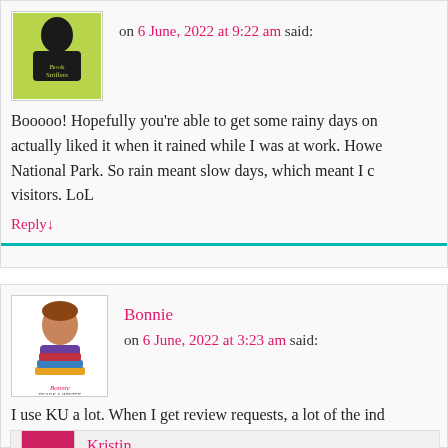[Figure (logo): Book Sniffers Anonymous blog logo - green background with silhouette]
on 6 June, 2022 at 9:22 am said:
Booooo! Hopefully you're able to get some rainy days on actually liked it when it rained while I was at work. Howe National Park. So rain meant slow days, which meant I c visitors. LoL
Reply↓
Bonnie
[Figure (logo): Bonnie Reads and Writes blog logo with cartoon reader]
on 6 June, 2022 at 3:23 am said:
I use KU a lot. When I get review requests, a lot of the ind on KU, so I pick it up there. It gives them a boost and intr books.
Reply↓
Kristin